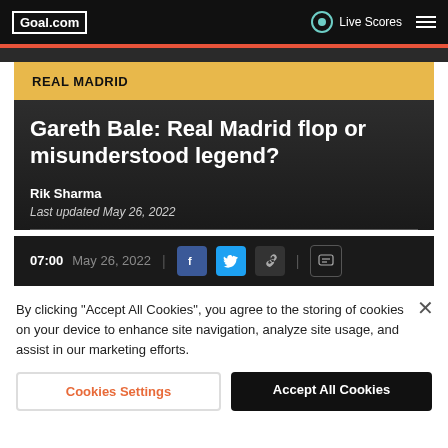Goal.com | Live Scores
REAL MADRID
Gareth Bale: Real Madrid flop or misunderstood legend?
Rik Sharma
Last updated May 26, 2022
07:00 May 26, 2022
By clicking "Accept All Cookies", you agree to the storing of cookies on your device to enhance site navigation, analyze site usage, and assist in our marketing efforts.
Cookies Settings
Accept All Cookies